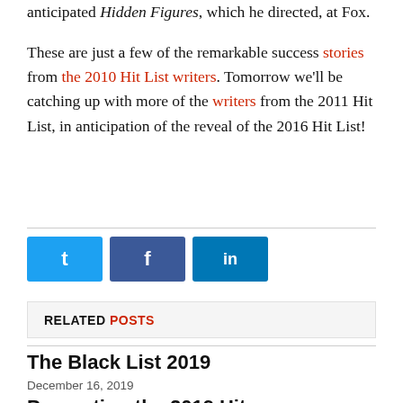anticipated Hidden Figures, which he directed, at Fox.

These are just a few of the remarkable success stories from the 2010 Hit List writers. Tomorrow we'll be catching up with more of the writers from the 2011 Hit List, in anticipation of the reveal of the 2016 Hit List!
[Figure (other): Social share buttons: Twitter (blue), Facebook (dark blue), LinkedIn (blue)]
RELATED POSTS
The Black List 2019
December 16, 2019
Presenting the 2019 Hit